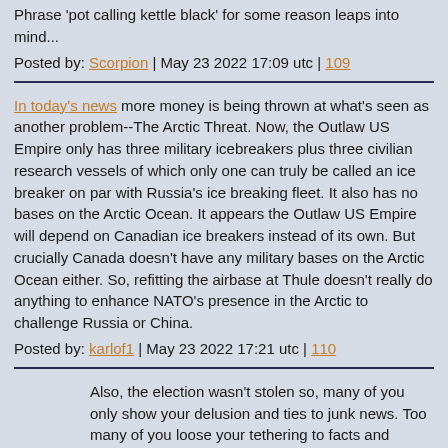Phrase 'pot calling kettle black' for some reason leaps into mind...
Posted by: Scorpion | May 23 2022 17:09 utc | 109
In today's news more money is being thrown at what's seen as another problem--The Arctic Threat. Now, the Outlaw US Empire only has three military icebreakers plus three civilian research vessels of which only one can truly be called an ice breaker on par with Russia's ice breaking fleet. It also has no bases on the Arctic Ocean. It appears the Outlaw US Empire will depend on Canadian ice breakers instead of its own. But crucially Canada doesn't have any military bases on the Arctic Ocean either. So, refitting the airbase at Thule doesn't really do anything to enhance NATO's presence in the Arctic to challenge Russia or China.
Posted by: karlof1 | May 23 2022 17:21 utc | 110
Also, the election wasn't stolen so, many of you only show your delusion and ties to junk news. Too many of you loose your tethering to facts and reality, and drift into your own groundless fantasies.
Posted by: ScottinDallas | May 23 2022 13:48 utc | 55